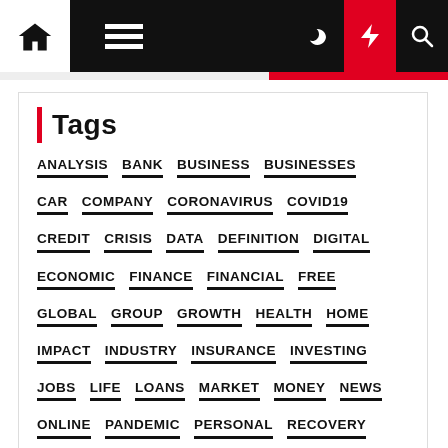Navigation header with home, menu, moon, bolt, and search icons
Tags
ANALYSIS
BANK
BUSINESS
BUSINESSES
CAR
COMPANY
CORONAVIRUS
COVID19
CREDIT
CRISIS
DATA
DEFINITION
DIGITAL
ECONOMIC
FINANCE
FINANCIAL
FREE
GLOBAL
GROUP
GROWTH
HEALTH
HOME
IMPACT
INDUSTRY
INSURANCE
INVESTING
JOBS
LIFE
LOANS
MARKET
MONEY
NEWS
ONLINE
PANDEMIC
PERSONAL
RECOVERY
SERVICES
SMALL
STIMULUS
STOCK
STOCKS
TOP
TRUMP
WAYS